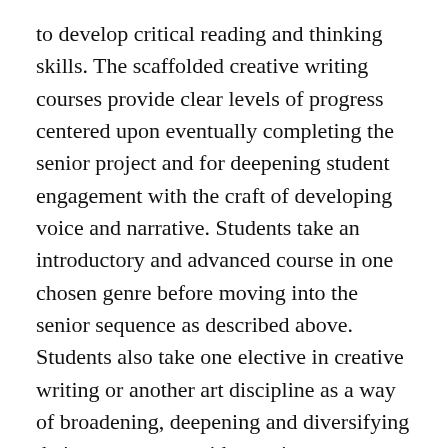to develop critical reading and thinking skills. The scaffolded creative writing courses provide clear levels of progress centered upon eventually completing the senior project and for deepening student engagement with the craft of developing voice and narrative. Students take an introductory and advanced course in one chosen genre before moving into the senior sequence as described above. Students also take one elective in creative writing or another art discipline as a way of broadening, deepening and diversifying their engagement with creative productivity more generally. Students interested in more than one genre are encouraged to begin their progress through the track by taking the multi-genre “Introduction to Creative Writing” class before choosing a genre path. Further, senior sequence courses are designed to support hybrid